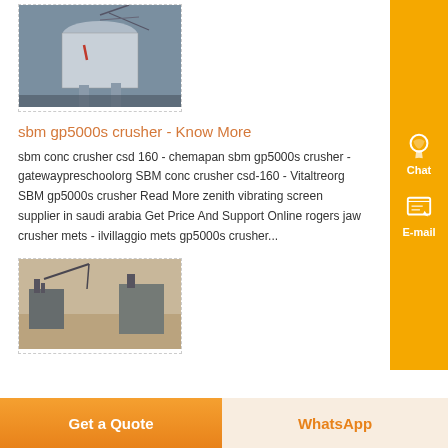[Figure (photo): Industrial crusher or silo structure photographed from below, steel cylindrical tanks and cranes visible.]
sbm gp5000s crusher - Know More
sbm conc crusher csd 160 - chemapan sbm gp5000s crusher - gatewaypreschoolorg SBM conc crusher csd-160 - Vitaltreorg SBM gp5000s crusher Read More zenith vibrating screen supplier in saudi arabia Get Price And Support Online rogers jaw crusher mets - ilvillaggio mets gp5000s crusher...
[Figure (photo): Aerial or overhead view of industrial mining or construction equipment in a dusty outdoor setting.]